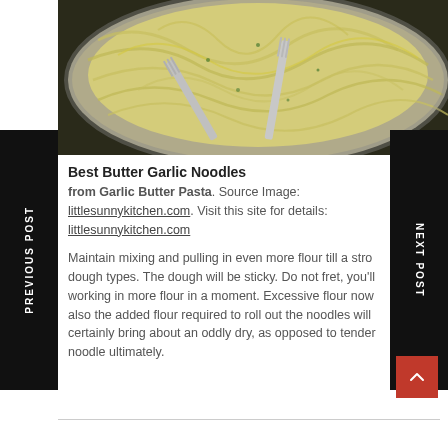[Figure (photo): A pan of butter garlic noodles/pasta with two silver forks tossing the spaghetti, viewed from above. The noodles are light yellow-green with flecks of herbs.]
Best Butter Garlic Noodles
from Garlic Butter Pasta. Source Image: littlesunnykitchen.com. Visit this site for details: littlesunnykitchen.com
Maintain mixing and pulling in even more flour till a stro dough types. The dough will be sticky. Do not fret, you'll working in more flour in a moment. Excessive flour now also the added flour required to roll out the noodles will certainly bring about an oddly dry, as opposed to tender noodle ultimately.